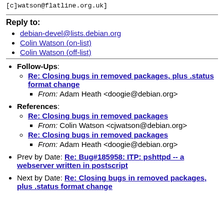[c]watson@flatline.org.uk]
Reply to:
debian-devel@lists.debian.org
Colin Watson (on-list)
Colin Watson (off-list)
Follow-Ups: Re: Closing bugs in removed packages, plus .status format change — From: Adam Heath <doogie@debian.org>
References: Re: Closing bugs in removed packages — From: Colin Watson <cjwatson@debian.org>; Re: Closing bugs in removed packages — From: Adam Heath <doogie@debian.org>
Prev by Date: Re: Bug#185958: ITP: pshttpd -- a webserver written in postscript
Next by Date: Re: Closing bugs in removed packages, plus .status format change